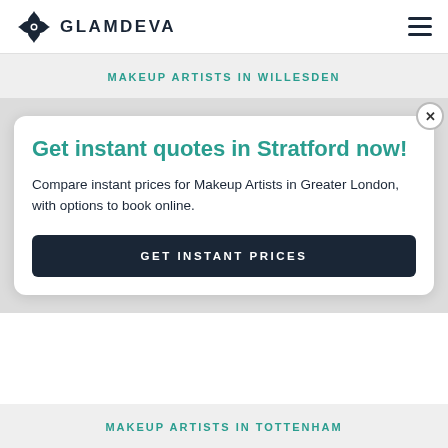GLAMDEVA
MAKEUP ARTISTS IN WILLESDEN
Get instant quotes in Stratford now!
Compare instant prices for Makeup Artists in Greater London, with options to book online.
GET INSTANT PRICES
MAKEUP ARTISTS IN TOTTENHAM